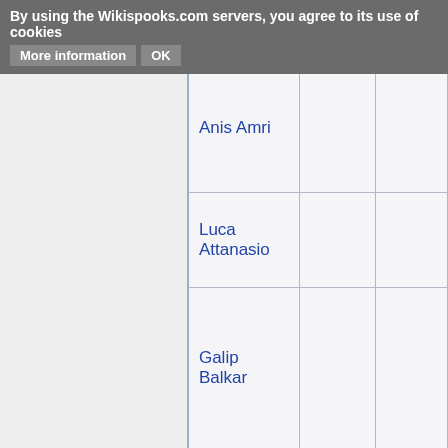By using the Wikispooks.com servers, you agree to its use of cookies   More information   OK
|  | Anis Amri |  |  |
|  | Luca Attanasio |  |  |
|  | Galip Balkar |  |  |